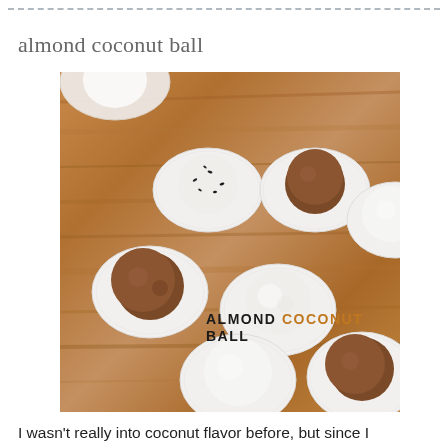almond coconut ball
[Figure (photo): Overhead photo of almond coconut balls in white cupcake/candy liners arranged on a wooden surface. Six balls visible: some white/coconut-coated, some chocolate/dark brown. Text overlay reads 'ALMOND COCONUT BALL' with 'COCONUT' in orange.]
I wasn't really into coconut flavor before, but since I discovered coconut milk whipped cream, I started to try them more and more. This recipe, I found online somewhere (I forgot which website..), was easy to remember because of